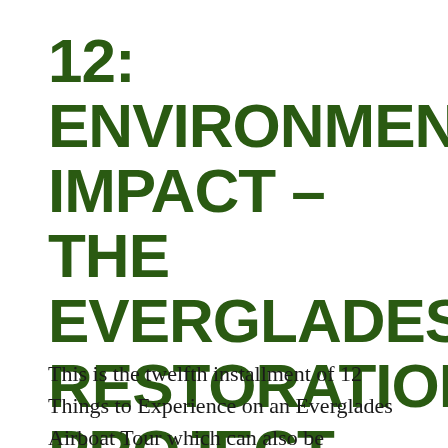12: ENVIRONMENTAL IMPACT – THE EVERGLADES RESTORATION PROJECT
This is the twelfth installment of 12 Things to Experience on an Everglades Airboat Tour which can also be